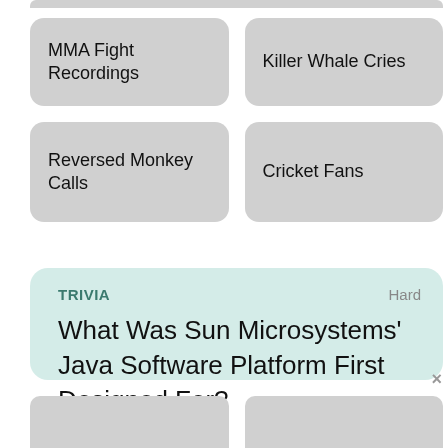MMA Fight Recordings
Killer Whale Cries
Reversed Monkey Calls
Cricket Fans
TRIVIA
Hard
What Was Sun Microsystems' Java Software Platform First Designed For?